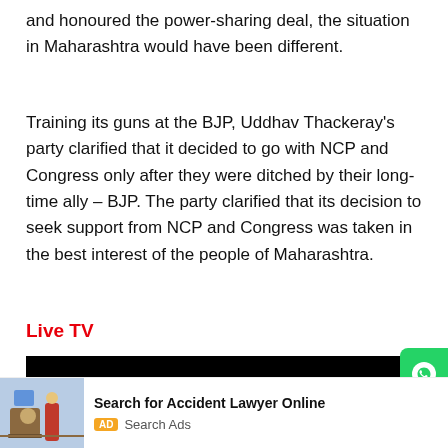and honoured the power-sharing deal, the situation in Maharashtra would have been different.
Training its guns at the BJP, Uddhav Thackeray's party clarified that it decided to go with NCP and Congress only after they were ditched by their long-time ally – BJP. The party clarified that its decision to seek support from NCP and Congress was taken in the best interest of the people of Maharashtra.
Live TV
[Figure (screenshot): Black video player area with a red 'Read in App' button in the center]
Search for Accident Lawyer Online